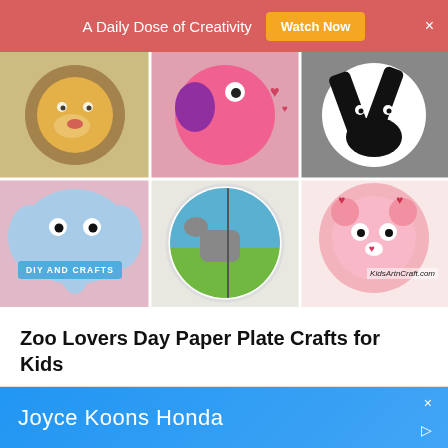A Daily Dose of Creativity  Watch Now  ×
[Figure (photo): Six paper plate animal crafts arranged in a 2×3 grid: lion, pink bird/fish, zebra (top row); elephant, elephant on plate scene, pink lion/bear with hearts (bottom row). Text overlay: 'DIY AND CRAFTS' badge and 'KidsArtnCraft.com' watermark.]
Zoo Lovers Day Paper Plate Crafts for Kids
[Figure (photo): Blue advertisement banner with white text 'Joyce Koons Honda' and close/arrow icons on the right.]